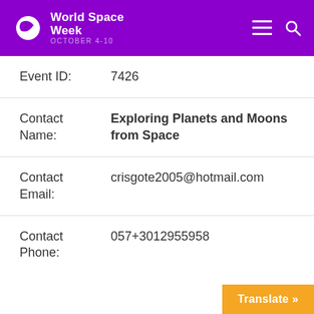World Space Week OCTOBER 4-10
| Field | Value |
| --- | --- |
| Event ID: | 7426 |
| Contact Name: | Exploring Planets and Moons from Space |
| Contact Email: | crisgote2005@hotmail.com |
| Contact Phone: | 057+3012955958 |
Translate »